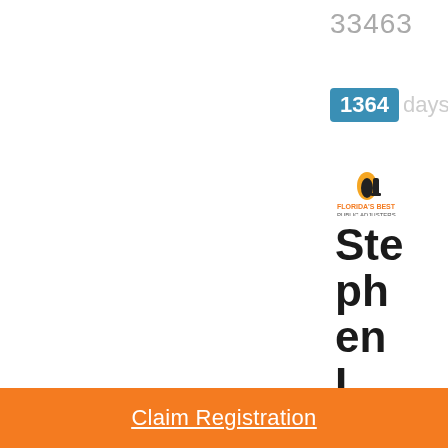33463
1364 days
[Figure (logo): Florida's Best Public Adjusters logo with flame icon]
Stephen L.
Near Cape Cod
Claim Registration